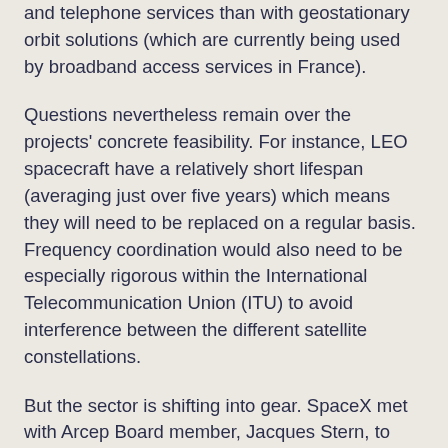and telephone services than with geostationary orbit solutions (which are currently being used by broadband access services in France).
Questions nevertheless remain over the projects' concrete feasibility. For instance, LEO spacecraft have a relatively short lifespan (averaging just over five years) which means they will need to be replaced on a regular basis. Frequency coordination would also need to be especially rigorous within the International Telecommunication Union (ITU) to avoid interference between the different satellite constellations.
But the sector is shifting into gear. SpaceX met with Arcep Board member, Jacques Stern, to discuss this very topic at the Global Symposium for Regulators that ITU hosted in July. Arcep Chairman and BEREC Chair for